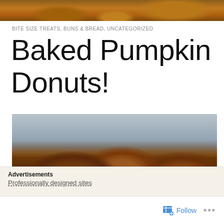[Figure (photo): Top partial photo of baked pumpkin donuts with crumbly coating on a wire rack, cropped at top of page]
BITE SIZE TREATS, BUNS & BREAD, UNCATEGORIZED
Baked Pumpkin Donuts!
[Figure (photo): Close-up photo of baked pumpkin donuts with cinnamon sugar coating on a checkered surface, blurred gray background]
Advertisements
Professionally designed sites
Follow